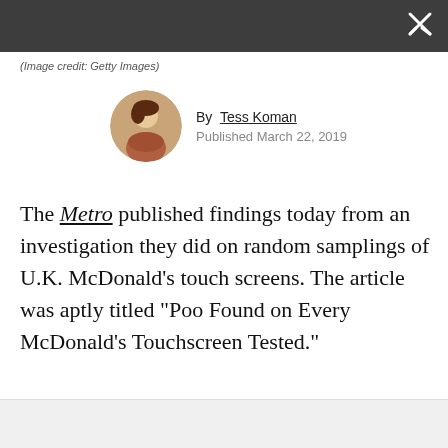(Image credit: Getty Images)
By Tess Koman
Published March 22, 2019
The Metro published findings today from an investigation they did on random samplings of U.K. McDonald's touch screens. The article was aptly titled "Poo Found on Every McDonald's Touchscreen Tested."